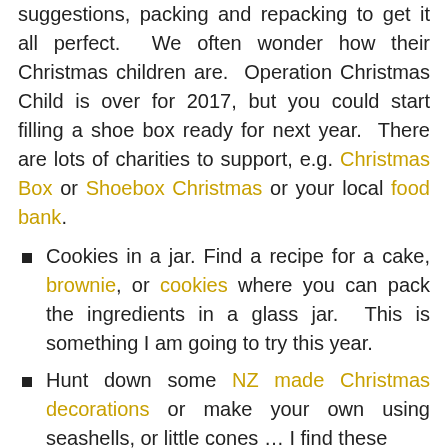suggestions, packing and repacking to get it all perfect.  We often wonder how their Christmas children are.  Operation Christmas Child is over for 2017, but you could start filling a shoe box ready for next year.  There are lots of charities to support, e.g. Christmas Box or Shoebox Christmas or your local food bank.
Cookies in a jar. Find a recipe for a cake, brownie, or cookies where you can pack the ingredients in a glass jar.  This is something I am going to try this year.
Hunt down some NZ made Christmas decorations or make your own using seashells, or little cones … I find these